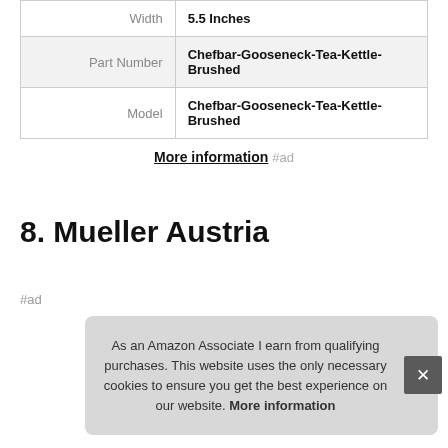| Attribute | Value |
| --- | --- |
| Width | 5.5 Inches |
| Part Number | Chefbar-Gooseneck-Tea-Kettle-Brushed |
| Model | Chefbar-Gooseneck-Tea-Kettle-Brushed |
More information #ad
8. Mueller Austria
#ad
As an Amazon Associate I earn from qualifying purchases. This website uses the only necessary cookies to ensure you get the best experience on our website. More information